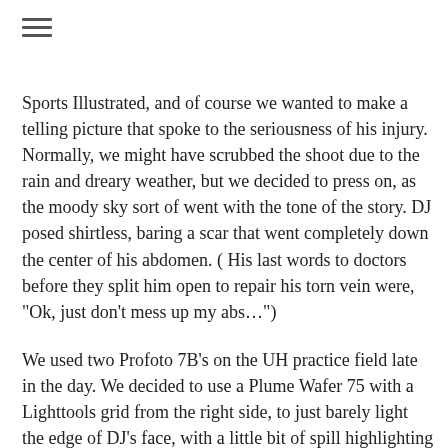≡
Sports Illustrated, and of course we wanted to make a telling picture that spoke to the seriousness of his injury. Normally, we might have scrubbed the shoot due to the rain and dreary weather, but we decided to press on, as the moody sky sort of went with the tone of the story. DJ posed shirtless, baring a scar that went completely down the center of his abdomen. ( His last words to doctors before they split him open to repair his torn vein were, "Ok, just don't mess up my abs…")
We used two Profoto 7B's on the UH practice field late in the day. We decided to use a Plume Wafer 75 with a Lighttools grid from the right side, to just barely light the edge of DJ's face, with a little bit of spill highlighting the scar on his wrist from the many needles and transfusions he endured during his hospital stay. We used a regular 7" reflector with a 3-degree grid with a Cinefoil snoot to